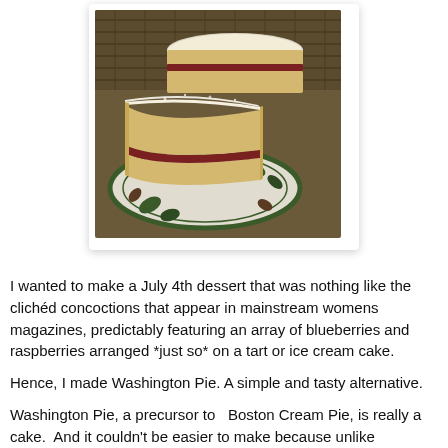[Figure (photo): A slice of Washington Pie (layer cake with jam filling) on a decorative plate with leaf pattern, dusted with powdered sugar. The whole cake is visible in the background on a cooling rack.]
I wanted to make a July 4th dessert that was nothing like the clichéd concoctions that appear in mainstream womens magazines, predictably featuring an array of blueberries and raspberries arranged *just so* on a tart or ice cream cake.
Hence, I made Washington Pie. A simple and tasty alternative.
Washington Pie, a precursor to  Boston Cream Pie, is really a cake.  And it couldn't be easier to make because unlike